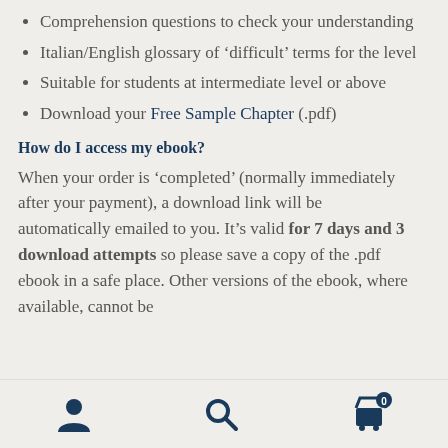Comprehension questions to check your understanding
Italian/English glossary of 'difficult' terms for the level
Suitable for students at intermediate level or above
Download your Free Sample Chapter (.pdf)
How do I access my ebook?
When your order is 'completed' (normally immediately after your payment), a download link will be automatically emailed to you. It's valid for 7 days and 3 download attempts so please save a copy of the .pdf ebook in a safe place. Other versions of the ebook, where available, cannot be
[Figure (infographic): Mobile bottom navigation bar with three icons: a person/account icon on the left, a search/magnifying glass icon in the center, and a shopping cart icon with a badge showing '0' on the right.]